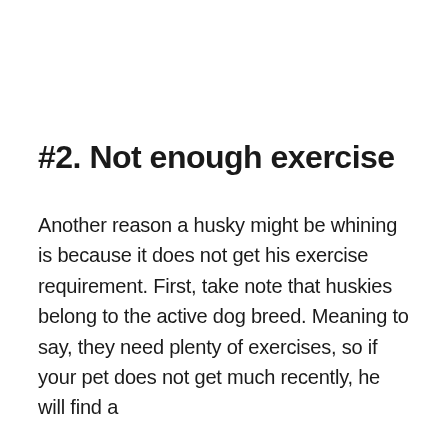#2. Not enough exercise
Another reason a husky might be whining is because it does not get his exercise requirement. First, take note that huskies belong to the active dog breed. Meaning to say, they need plenty of exercises, so if your pet does not get much recently, he will find a